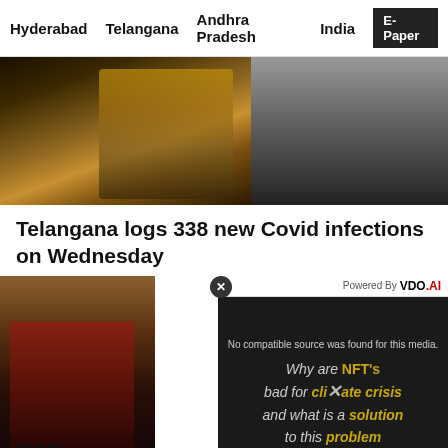Hyderabad   Telangana   Andhra Pradesh   India   E-Paper
[Figure (photo): Photo of a woman in yellow saree wearing a mask, against a dark background]
Telangana logs 338 new Covid infections on Wednesday
[Figure (screenshot): Video player overlay showing 'No compatible source was found for this media.' with NFT climate crisis graphic text and VDO.AI branding. Text reads: Why are NFT's bad for climate crisis and what is a solution to this problem]
GHMC